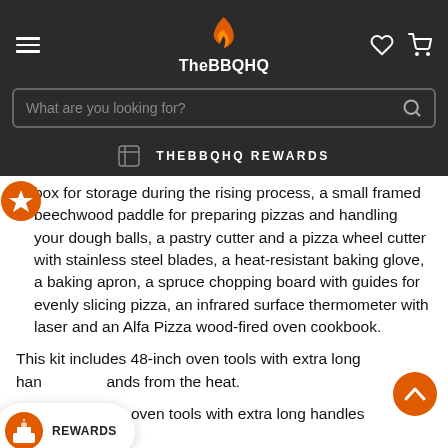TheBBQHQ
box for storage during the rising process, a small framed beechwood paddle for preparing pizzas and handling your dough balls, a pastry cutter and a pizza wheel cutter with stainless steel blades, a heat-resistant baking glove, a baking apron, a spruce chopping board with guides for evenly slicing pizza, an infrared surface thermometer with laser and an Alfa Pizza wood-fired oven cookbook.
This kit includes 48-inch oven tools with extra long handles to keep your hands from the heat.
36"/48" length oven tools with extra long handles